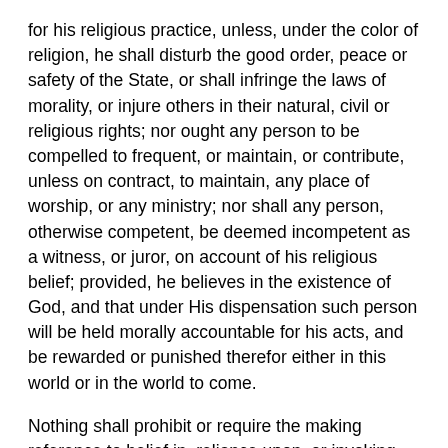for his religious practice, unless, under the color of religion, he shall disturb the good order, peace or safety of the State, or shall infringe the laws of morality, or injure others in their natural, civil or religious rights; nor ought any person to be compelled to frequent, or maintain, or contribute, unless on contract, to maintain, any place of worship, or any ministry; nor shall any person, otherwise competent, be deemed incompetent as a witness, or juror, on account of his religious belief; provided, he believes in the existence of God, and that under His dispensation such person will be held morally accountable for his acts, and be rewarded or punished therefor either in this world or in the world to come.
Nothing shall prohibit or require the making reference to belief in, reliance upon, or invoking the aid of God or a Supreme Being in any governmental or public document, proceeding, activity, ceremony, school, institution, or place.
Nothing in this article shall constitute an establishment of religion (amended by Chapter 558, Acts of 1970, ratified Nov. 3, 1970).
Art. 37. That no religious test ought ever to be required as a qualification for any office of profit or trust in this State, other than...